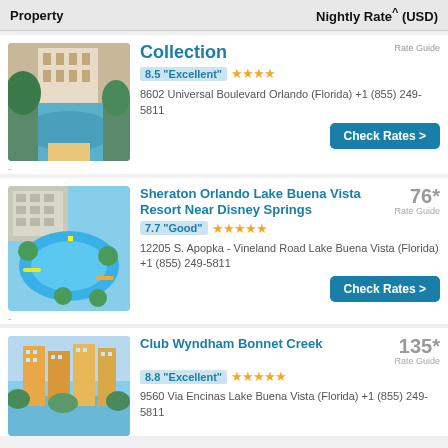Property | Nightly Rate^ (USD)
Collection
8.5 "Excellent" ★★★★
8602 Universal Boulevard Orlando (Florida) +1 (855) 249-5811
Sheraton Orlando Lake Buena Vista Resort Near Disney Springs
76* Rate Guide
7.7 "Good" ★★★★★
12205 S. Apopka - Vineland Road Lake Buena Vista (Florida) +1 (855) 249-5811
Club Wyndham Bonnet Creek
135* Rate Guide
8.8 "Excellent" ★★★★★
9560 Via Encinas Lake Buena Vista (Florida) +1 (855) 249-5811